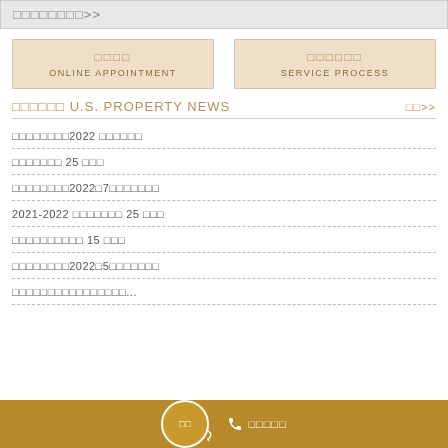□□□□□□□□>>
□□□□ ONLINE APPOINTMENT
□□□□□□ SERVICE PROCESS
□□□□□□ U.S. PROPERTY NEWS
□□>>
□□□□□□□□2022 □□□□□□
□□□□□□□ 25 □□□
□□□□□□□□2022□7□□□□□□□
2021-2022 □□□□□□□ 25 □□□
□□□□□□□□□□ 15 □□□
□□□□□□□□2022□5□□□□□□□
□□□□□□□□□□□□□□□□...
□□  □□□□□